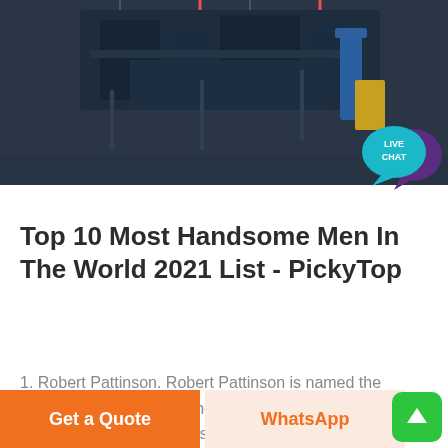[Figure (photo): Dark industrial machinery photo used as article header image]
[Figure (infographic): Live Chat speech bubble icon in teal/purple colors with text LIVE CHAT]
Top 10 Most Handsome Men In The World 2021 List - PickyTop
1. Robert Pattinson. Robert Pattinson is named the most handsome man in the world 2021 after a research by facial plastic surgeon Dr Julian De Silva into what makes up the 'perfect face.'.
Get a Quote
WhatsApp